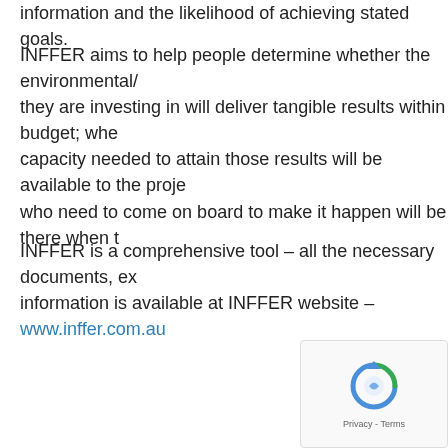information and the likelihood of achieving stated goals.
INFFER aims to help people determine whether the environmental/ they are investing in will deliver tangible results within budget; whe capacity needed to attain those results will be available to the proje who need to come on board to make it happen will be there when t
INFFER is a comprehensive tool – all the necessary documents, ex information is available at INFFER website – www.inffer.com.au
[Figure (other): reCAPTCHA widget showing a circular arrow logo with 'Privacy - Terms' footer text]